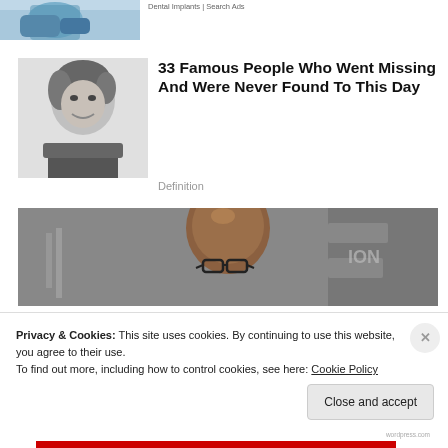[Figure (photo): Cropped photo of blue-gloved hands, partial view at top]
Dental Implants | Search Ads
[Figure (photo): Black and white photo of a young person with dark curly hair, smiling]
33 Famous People Who Went Missing And Were Never Found To This Day
Definition
[Figure (photo): Color photo of a bald Black man wearing glasses, photographed at an event with a backdrop behind him]
Privacy & Cookies: This site uses cookies. By continuing to use this website, you agree to their use.
To find out more, including how to control cookies, see here: Cookie Policy
Close and accept